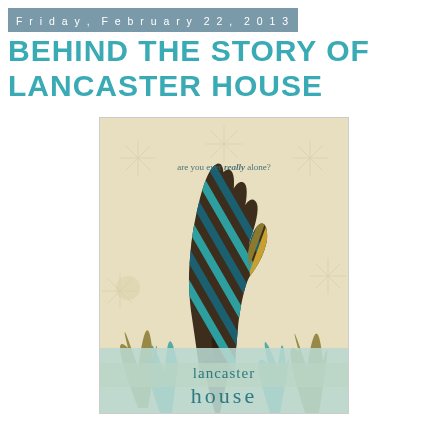Friday, February 22, 2013
BEHIND THE STORY OF LANCASTER HOUSE
[Figure (illustration): Book cover for 'Lancaster House' showing a stylized hand reaching upward, filled with teal, gold, and dark striped patterns against a beige background with snowflake motifs. Text at top reads 'are you ever really alone?' and the title 'lancaster house' appears at the bottom in teal lettering.]